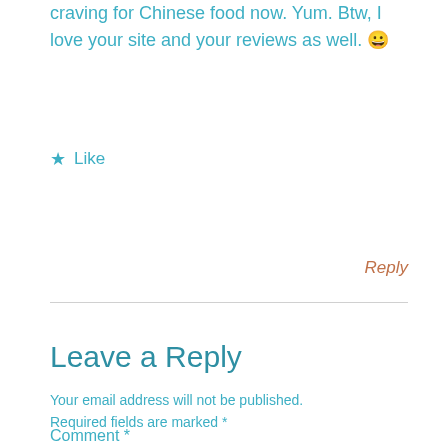craving for Chinese food now. Yum. Btw, I love your site and your reviews as well. 😀
★ Like
Reply
Leave a Reply
Your email address will not be published. Required fields are marked *
Comment *